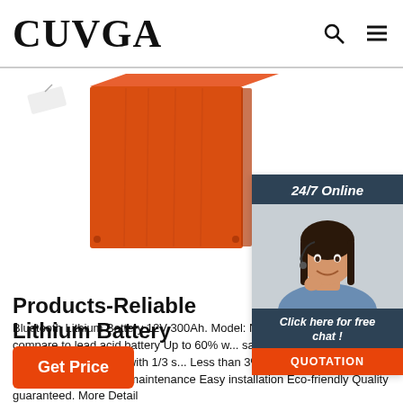CUVGA
[Figure (photo): Orange/red lithium battery product box on white background]
[Figure (photo): 24/7 Online customer service chat widget with woman wearing headset, 'Click here for free chat!' text, and orange QUOTATION button]
Products-Reliable Lithium Battery
Bluetooth Lithium Battery 12V 300Ah. Model: NOVE... Longer life compare to lead acid battery Up to 60% w... saving 100% usable capacity More energy with 1/3 s... Less than 3% self discharging Built in safety protection Zero maintenance Easy installation Eco-friendly Quality guaranteed. More Detail
Get Price